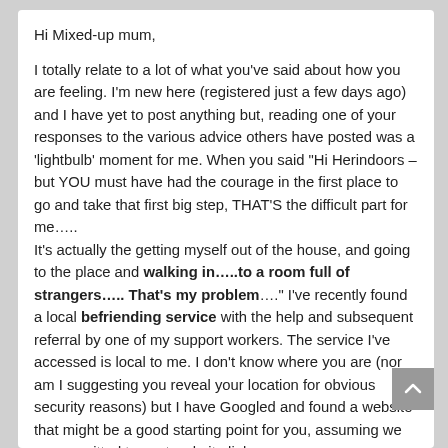Hi Mixed-up mum,

I totally relate to a lot of what you've said about how you are feeling. I'm new here (registered just a few days ago) and I have yet to post anything but, reading one of your responses to the various advice others have posted was a 'lightbulb' moment for me. When you said "Hi Herindoors – but YOU must have had the courage in the first place to go and take that first big step, THAT'S the difficult part for me…..
It's actually the getting myself out of the house, and going to the place and walking in…..to a room full of strangers….. That's my problem…." I've recently found a local befriending service with the help and subsequent referral by one of my support workers. The service I've accessed is local to me. I don't know where you are (nor am I suggesting you reveal your location for obvious security reasons) but I have Googled and found a website that might be a good starting point for you, assuming we are permitted to post website links